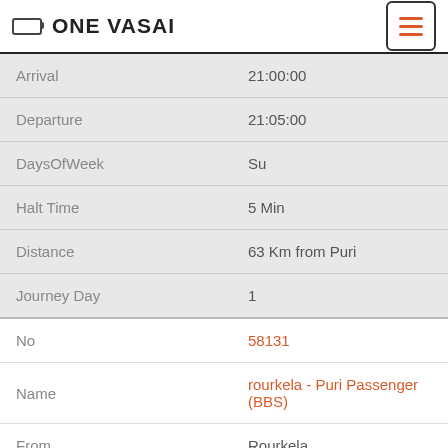ONE VASAI
| Field | Value |
| --- | --- |
| Arrival | 21:00:00 |
| Departure | 21:05:00 |
| DaysOfWeek | Su |
| Halt Time | 5 Min |
| Distance | 63 Km from Puri |
| Journey Day | 1 |
| Field | Value |
| --- | --- |
| No | 58131 |
| Name | rourkela - Puri Passenger (BBS) |
| From | Rourkela |
| To | Puri |
| Arrival | 21:05:00 |
| Departure | 21:10:00 |